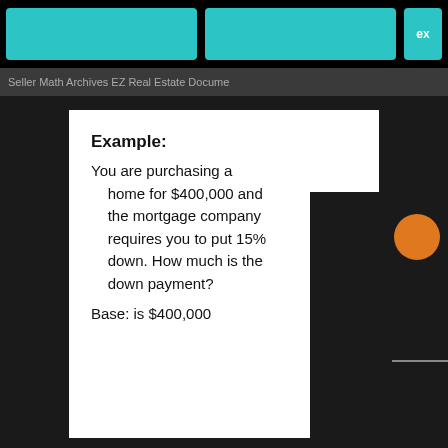Seller Math Archives EZ Real Estate Docume...
Example:
You are purchasing a home for $400,000 and the mortgage company requires you to put 15% down. How much is the down payment?
Base: is $400,000
Bas...